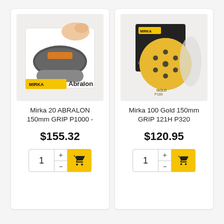[Figure (photo): Mirka Abralon sanding pad product in box, showing a hand holding a grey orbital sander with yellow Mirka Abralon branding on the box.]
Mirka 20 ABRALON 150mm GRIP P1000 -
$155.32
[Figure (photo): Mirka 100 Gold sanding discs product, showing a yellow circular sanding disc with holes and dark product packaging box.]
Mirka 100 Gold 150mm GRIP 121H P320
$120.95